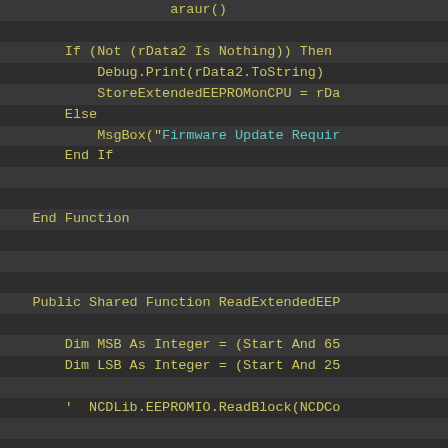araur()

    If (Not (rData2 Is Nothing)) Then
        Debug.Print(rData2.ToString)
        StoreExtendedEEPROMOnCPU = rDa
    Else
        MsgBox("Firmware Update Requir
    End If


End Function



Public Shared Function ReadExtendedEEP

    Dim MSB As Integer = (Start And 65
    Dim LSB As Integer = (Start And 25

    '  NCDLib.EEPROMIO.ReadBlock(NCDCo